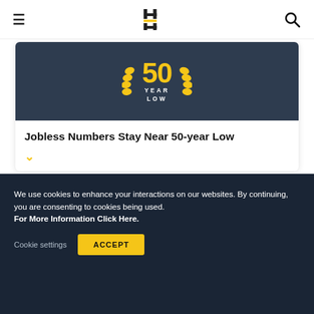≡  [Logo]  🔍
[Figure (illustration): Dark blue card image with badge showing '50 YEAR LOW' in gold text with laurel wreaths, on a dark slate background]
Jobless Numbers Stay Near 50-year Low
[Figure (illustration): Dark blue card stub (second article card, partially visible)]
We use cookies to enhance your interactions on our websites. By continuing, you are consenting to cookies being used.
For More Information Click Here.
Cookie settings   ACCEPT